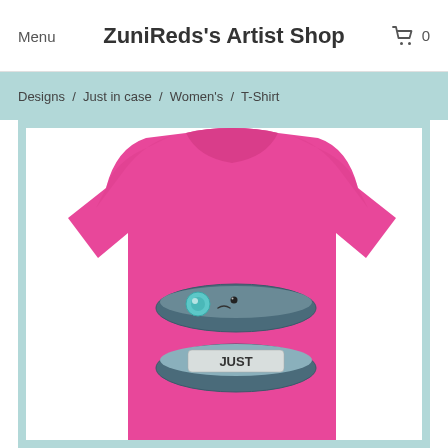Menu   ZuniReds's Artist Shop   0
Designs / Just in case / Women's / T-Shirt
[Figure (photo): Pink women's t-shirt with cute cartoon graphic of an open glasses/pencil case with a teal eye and the text 'JUST' visible inside]